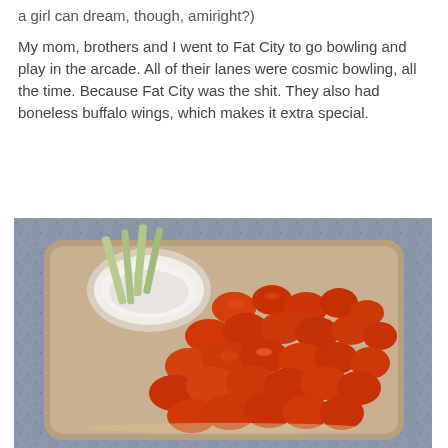a girl can dream, though, amiright?)
My mom, brothers and I went to Fat City to go bowling and play in the arcade. All of their lanes were cosmic bowling, all the time. Because Fat City was the shit. They also had boneless buffalo wings, which makes it extra special.
[Figure (photo): A plate of boneless buffalo wings (bright orange-red sauced chicken pieces) on a tan/brown square plate, with a small white dipping sauce bowl and celery sticks, on a granite countertop background.]